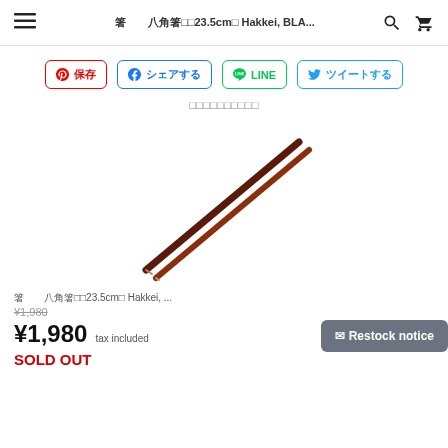箸　　八角箸23.5cm箸 Hakkei, BLA...
保存　シェアする　LINE　ツイートする
この商品の在庫状況を確認する
[Figure (photo): Product photo of dark brown/red lacquered chopsticks (23.5cm) on white background, angled diagonally from lower-left to upper-right]
箸　　八角箸23.5cm箸 Hakkei, ...
¥1,980 tax included
SOLD OUT
✉ Restock notice